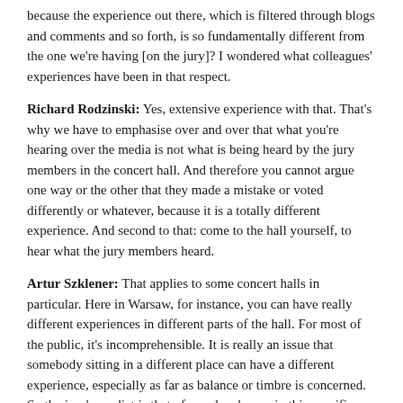because the experience out there, which is filtered through blogs and comments and so forth, is so fundamentally different from the one we're having [on the jury]? I wondered what colleagues' experiences have been in that respect.
Richard Rodzinski: Yes, extensive experience with that. That's why we have to emphasise over and over that what you're hearing over the media is not what is being heard by the jury members in the concert hall. And therefore you cannot argue one way or the other that they made a mistake or voted differently or whatever, because it is a totally different experience. And second to that: come to the hall yourself, to hear what the jury members heard.
Artur Szklener: That applies to some concert halls in particular. Here in Warsaw, for instance, you can have really different experiences in different parts of the hall. For most of the public, it's incomprehensible. It is really an issue that somebody sitting in a different place can have a different experience, especially as far as balance or timbre is concerned. So the jury's verdict is that of people who are in this specific place.
John Allison: You very neatly brought this back to music, and music being put to the test. We've mostly been talking about competitors being put to the test. So I am grateful to you. It was an honour to share the platform with such a distinguished panel. Thank you all very much